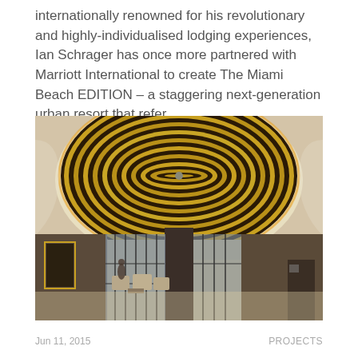internationally renowned for his revolutionary and highly-individualised lodging experiences, Ian Schrager has once more partnered with Marriott International to create The Miami Beach EDITION – a staggering next-generation urban resort that refer
[Figure (photo): Interior photo of The Miami Beach EDITION hotel lobby featuring a large ornate circular gold-ringed ceiling medallion with warm ambient lighting, and a spacious open lobby with seating area, floor-to-ceiling windows with dark frames, marble flooring, and dark wood accents.]
Jun 11, 2015    PROJECTS